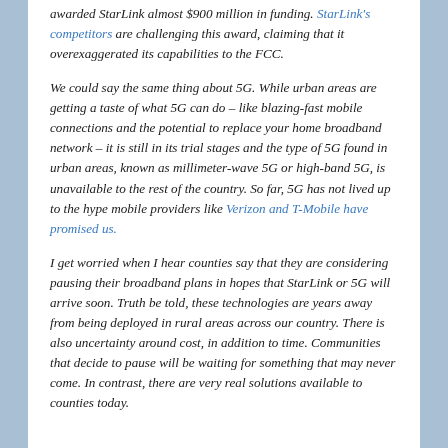awarded StarLink almost $900 million in funding. StarLink's competitors are challenging this award, claiming that it overexaggerated its capabilities to the FCC.
We could say the same thing about 5G. While urban areas are getting a taste of what 5G can do – like blazing-fast mobile connections and the potential to replace your home broadband network – it is still in its trial stages and the type of 5G found in urban areas, known as millimeter-wave 5G or high-band 5G, is unavailable to the rest of the country. So far, 5G has not lived up to the hype mobile providers like Verizon and T-Mobile have promised us.
I get worried when I hear counties say that they are considering pausing their broadband plans in hopes that StarLink or 5G will arrive soon. Truth be told, these technologies are years away from being deployed in rural areas across our country. There is also uncertainty around cost, in addition to time. Communities that decide to pause will be waiting for something that may never come. In contrast, there are very real solutions available to counties today.